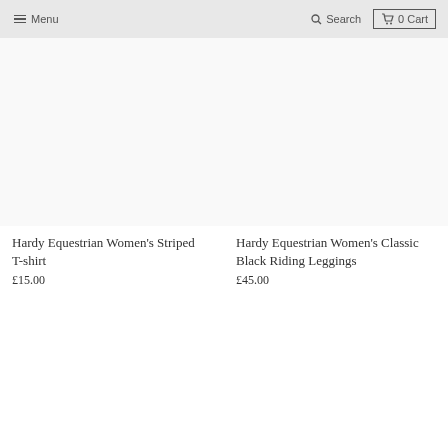Menu   Search   0 Cart
[Figure (photo): Product image area for Hardy Equestrian Women's Striped T-shirt (blank/white image placeholder)]
Hardy Equestrian Women's Striped T-shirt
£15.00
[Figure (photo): Product image area for Hardy Equestrian Women's Classic Black Riding Leggings (blank/white image placeholder)]
Hardy Equestrian Women's Classic Black Riding Leggings
£45.00